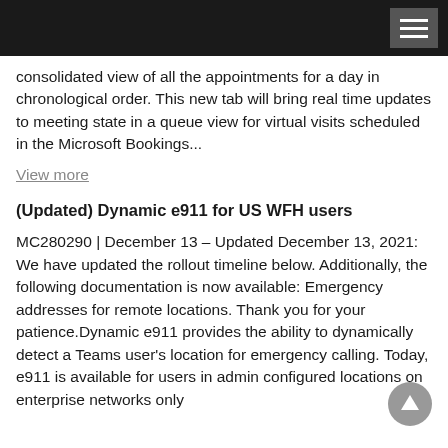Navigation header bar
consolidated view of all the appointments for a day in chronological order. This new tab will bring real time updates to meeting state in a queue view for virtual visits scheduled in the Microsoft Bookings...
View more
(Updated) Dynamic e911 for US WFH users
MC280290 | December 13 – Updated December 13, 2021: We have updated the rollout timeline below. Additionally, the following documentation is now available: Emergency addresses for remote locations. Thank you for your patience.Dynamic e911 provides the ability to dynamically detect a Teams user's location for emergency calling. Today, e911 is available for users in admin configured locations on enterprise networks only